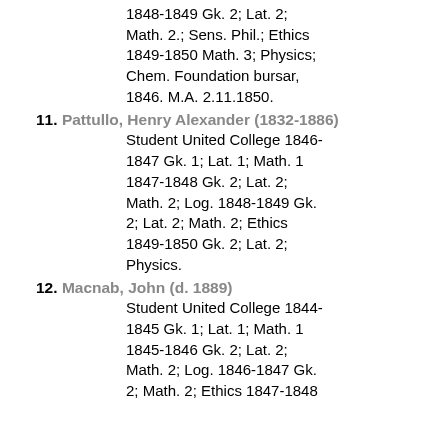continuation: 1848-1849 Gk. 2; Lat. 2; Math. 2.; Sens. Phil.; Ethics 1849-1850 Math. 3; Physics; Chem. Foundation bursar, 1846. M.A. 2.11.1850.
11. Pattullo, Henry Alexander (1832-1886) Student United College 1846-1847 Gk. 1; Lat. 1; Math. 1 1847-1848 Gk. 2; Lat. 2; Math. 2; Log. 1848-1849 Gk. 2; Lat. 2; Math. 2; Ethics 1849-1850 Gk. 2; Lat. 2; Physics.
12. Macnab, John (d. 1889) Student United College 1844-1845 Gk. 1; Lat. 1; Math. 1 1845-1846 Gk. 2; Lat. 2; Math. 2; Log. 1846-1847 Gk. 2; Math. 2; Ethics 1847-1848...